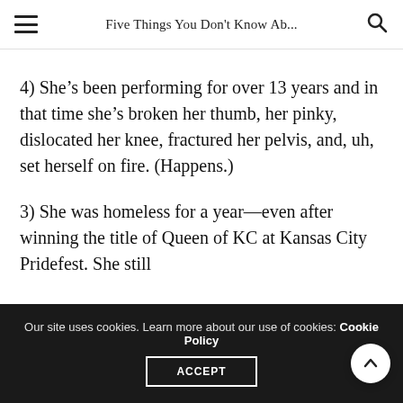Five Things You Don't Know Ab...
4) She’s been performing for over 13 years and in that time she’s broken her thumb, her pinky, dislocated her knee, fractured her pelvis, and, uh, set herself on fire. (Happens.)
3) She was homeless for a year—even after winning the title of Queen of KC at Kansas City Pridefest. She still
Our site uses cookies. Learn more about our use of cookies: Cookie Policy
ACCEPT